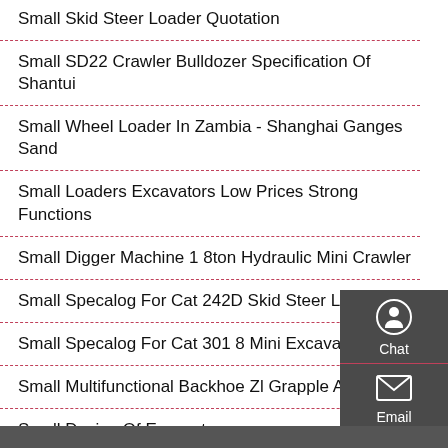Small Skid Steer Loader Quotation
Small SD22 Crawler Bulldozer Specification Of Shantui
Small Wheel Loader In Zambia - Shanghai Ganges Sand
Small Loaders Excavators Low Prices Strong Functions
Small Digger Machine 1 8ton Hydraulic Mini Crawler
Small Specalog For Cat 242D Skid Steer Loader
Small Specalog For Cat 301 8 Mini Excavator
Small Multifunctional Backhoe Zl Grapple Attachment
Small Design Of Excavator